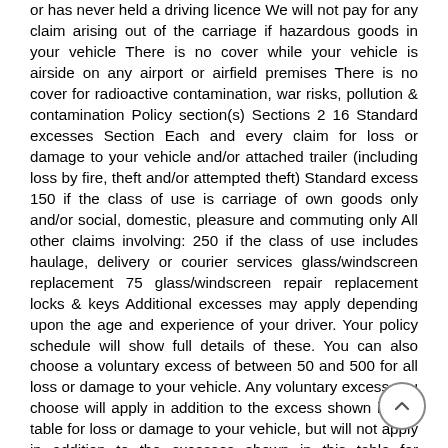or has never held a driving licence We will not pay for any claim arising out of the carriage if hazardous goods in your vehicle There is no cover while your vehicle is airside on any airport or airfield premises There is no cover for radioactive contamination, war risks, pollution & contamination Policy section(s) Sections 2 16 Standard excesses Section Each and every claim for loss or damage to your vehicle and/or attached trailer (including loss by fire, theft and/or attempted theft) Standard excess 150 if the class of use is carriage of own goods only and/or social, domestic, pleasure and commuting only All other claims involving: 250 if the class of use includes haulage, delivery or courier services glass/windscreen replacement 75 glass/windscreen repair replacement locks & keys Additional excesses may apply depending upon the age and experience of your driver. Your policy schedule will show full details of these. You can also choose a voluntary excess of between 50 and 500 for all loss or damage to your vehicle. Any voluntary excess you choose will apply in addition to the excess shown in this table for loss or damage to your vehicle, but will not apply in addition to the excesses shown in this table for glass/windscreen replacement and repair or for replacement locks and keys.